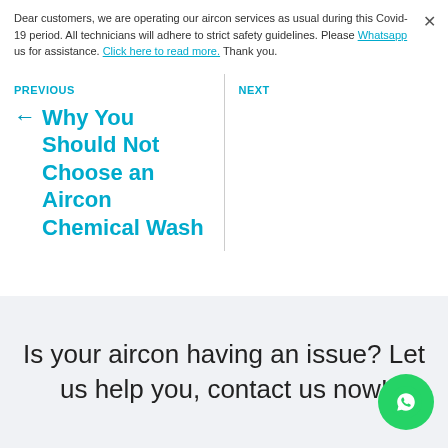Dear customers, we are operating our aircon services as usual during this Covid-19 period. All technicians will adhere to strict safety guidelines. Please Whatsapp us for assistance. Click here to read more. Thank you.
PREVIOUS
Why You Should Not Choose an Aircon Chemical Wash
NEXT
Is your aircon having an issue? Let us help you, contact us now!